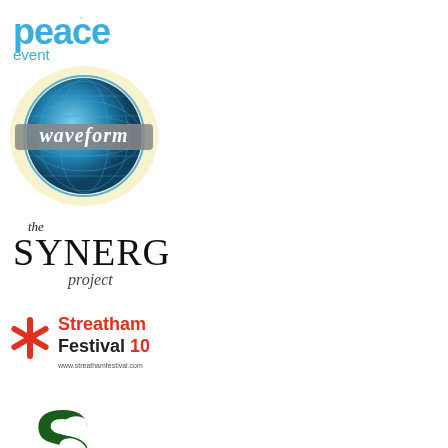[Figure (logo): Peace Event logo - blue text reading 'peace' in bold with 'event' below]
[Figure (logo): Waveform logo - circular globe with waveform text in metallic italic font on yellow/cream background]
[Figure (logo): The Synergy Project logo - black text with 'the' small, 'SYNERGY' large in decorative font, 'project' below]
[Figure (logo): Streatham Festival 10 logo - red asterisk/snowflake icon with red and black text, www.streathamfestival.com]
[Figure (logo): Stockwell Partnership logo - dark green S with hands, text 'Stockwell Partnership' below]
[Figure (logo): The 2011 Green Gathering logo - blue background with yellow-green grassy text]
[Figure (logo): Brighton & Hove City Council logo - purple and blue overlapping squares with white city skyline icon and white text]